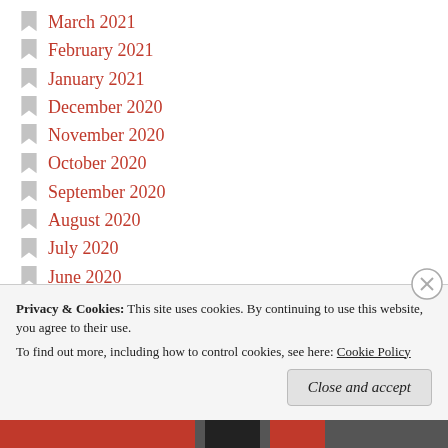March 2021
February 2021
January 2021
December 2020
November 2020
October 2020
September 2020
August 2020
July 2020
June 2020
May 2020
April 2020
March 2020
Privacy & Cookies: This site uses cookies. By continuing to use this website, you agree to their use. To find out more, including how to control cookies, see here: Cookie Policy
Close and accept